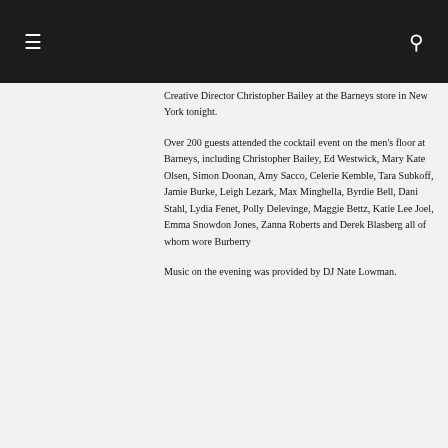≡  🔍
Creative Director Christopher Bailey at the Barneys store in New York tonight.
Over 200 guests attended the cocktail event on the men's floor at Barneys, including Christopher Bailey, Ed Westwick, Mary Kate Olsen, Simon Doonan, Amy Sacco, Celerie Kemble, Tara Subkoff, Jamie Burke, Leigh Lezark, Max Minghella, Byrdie Bell, Dani Stahl, Lydia Fenet, Polly Delevinge, Maggie Bettz, Katie Lee Joel, Emma Snowdon Jones, Zanna Roberts and Derek Blasberg all of whom wore Burberry
Music on the evening was provided by DJ Nate Lowman.